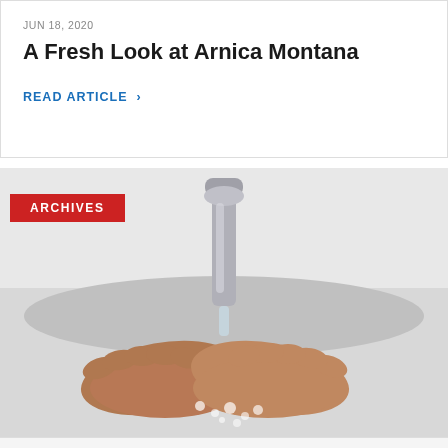JUN 18, 2020
A Fresh Look at Arnica Montana
READ ARTICLE >
[Figure (photo): Photo of hands being washed under a running faucet at a sink, with soap bubbles visible, with a red ARCHIVES label overlay in the upper left]
ARCHIVES